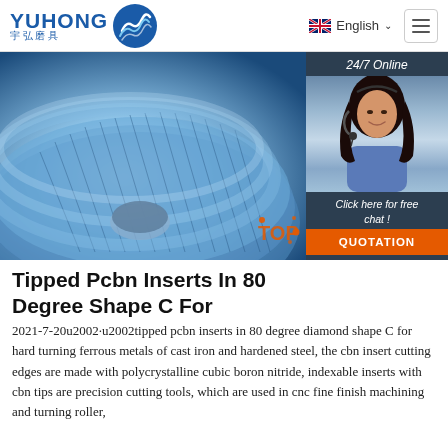[Figure (logo): Yuhong logo with blue wave icon and Chinese characters 宇弘磨具]
[Figure (screenshot): Navigation bar showing English language selector with UK flag and hamburger menu icon]
[Figure (photo): Blue flap disc abrasive grinding wheels stacked, with 24/7 online chat panel on right showing female customer service agent and QUOTATION button]
Tipped Pcbn Inserts In 80 Degree Shape C For
2021-7-20u2002·u2002tipped pcbn inserts in 80 degree diamond shape C for hard turning ferrous metals of cast iron and hardened steel, the cbn insert cutting edges are made with polycrystalline cubic boron nitride, indexable inserts with cbn tips are precision cutting tools, which are used in cnc fine finish machining and turning roller,